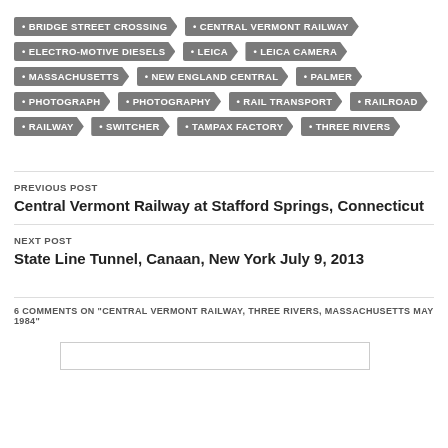BRIDGE STREET CROSSING
CENTRAL VERMONT RAILWAY
ELECTRO-MOTIVE DIESELS
LEICA
LEICA CAMERA
MASSACHUSETTS
NEW ENGLAND CENTRAL
PALMER
PHOTOGRAPH
PHOTOGRAPHY
RAIL TRANSPORT
RAILROAD
RAILWAY
SWITCHER
TAMPAX FACTORY
THREE RIVERS
PREVIOUS POST
Central Vermont Railway at Stafford Springs, Connecticut
NEXT POST
State Line Tunnel, Canaan, New York July 9, 2013
6 COMMENTS ON "CENTRAL VERMONT RAILWAY, THREE RIVERS, MASSACHUSETTS MAY 1984"